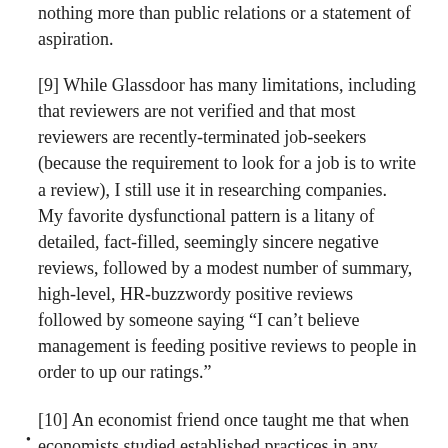nothing more than public relations or a statement of aspiration.
[9] While Glassdoor has many limitations, including that reviewers are not verified and that most reviewers are recently-terminated job-seekers (because the requirement to look for a job is to write a review), I still use it in researching companies.  My favorite dysfunctional pattern is a litany of detailed, fact-filled, seemingly sincere negative reviews, followed by a modest number of summary, high-level, HR-buzzwordy positive reviews followed by someone saying “I can’t believe management is feeding positive reviews to people in order to up our ratings.”
[10] An economist friend once taught me that when economists studied established practices in any field, e.g.,  the need for a second-serve (as opposed to just hitting two first-